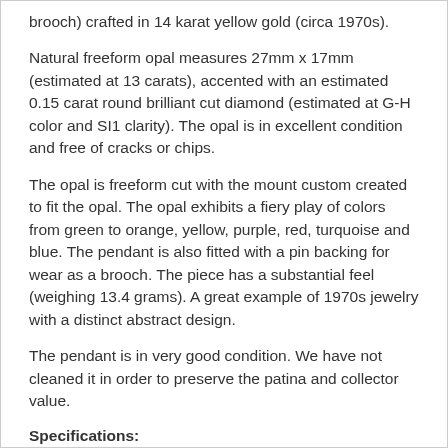brooch) crafted in 14 karat yellow gold (circa 1970s).
Natural freeform opal measures 27mm x 17mm (estimated at 13 carats), accented with an estimated 0.15 carat round brilliant cut diamond (estimated at G-H color and SI1 clarity). The opal is in excellent condition and free of cracks or chips.
The opal is freeform cut with the mount custom created to fit the opal. The opal exhibits a fiery play of colors from green to orange, yellow, purple, red, turquoise and blue. The pendant is also fitted with a pin backing for wear as a brooch. The piece has a substantial feel (weighing 13.4 grams). A great example of 1970s jewelry with a distinct abstract design.
The pendant is in very good condition. We have not cleaned it in order to preserve the patina and collector value.
Specifications: